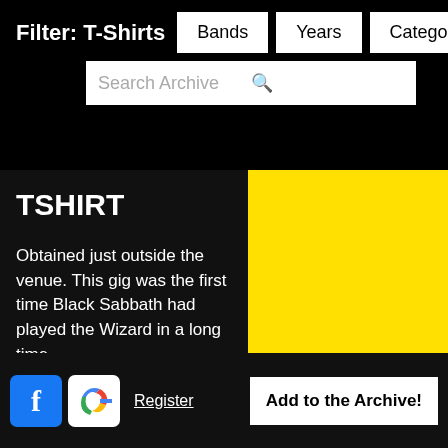Filter: T-Shirts  Bands  Years  Categories  Search Archive
TSHIRT
Obtained just outside the venue. This gig was the first time Black Sabbath had played the Wizard in a long time.
read more
[Figure (photo): Godflesh - dark blue t-shirt with Godflesh logo label, small circular band logo icon]
Register  Add to the Archive!